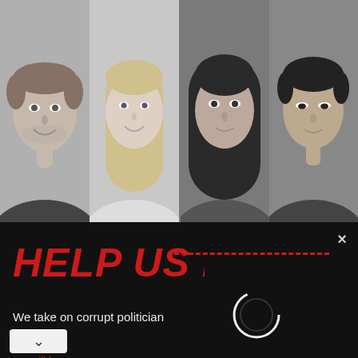[Figure (photo): Black and white photo strip showing four people (two on left side, two on right side). Left: a man in a suit and a blonde woman. Right: a dark-haired woman and an Asian man in a blazer.]
[Figure (screenshot): Dark popup overlay with red bold text 'HELP US F[IND THE TRUTH]' partially visible, subtext 'We take on corrupt politician[s]', and 'As long as [there are people who care] we will k[eep fighting]' in red. An X close button top right. A loading spinner circle visible.]
HELP US F
We take on corrupt politician
As long as
we will k
[Figure (screenshot): Bottom ad bar showing a black circular logo with double loop/infinity arrows, a green checkmark, 'In-store shopping' text, and a blue diamond navigation arrow icon on right. Small ad attribution icons (triangle and X) at bottom left.]
✓  In-store shopping